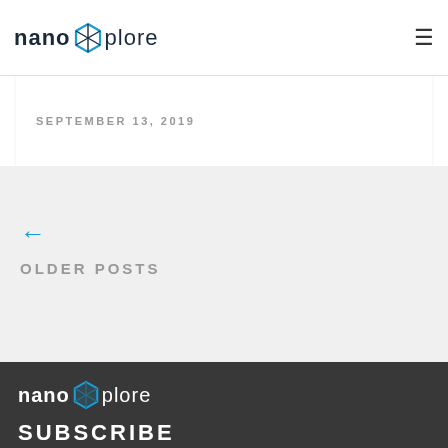NanoXplore
SEPTEMBER 13, 2019
← OLDER POSTS
[Figure (logo): NanoXplore logo with hexagon icon in dark footer]
SUBSCRIBE
Name